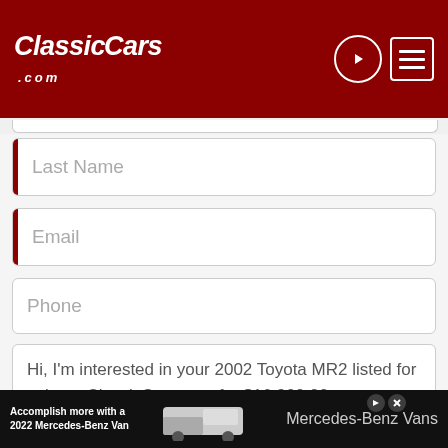ClassicCars.com
Last Name
Email
Phone
Hi, I'm interested in your 2002 Toyota MR2 listed for sale on ClassicCars.com for $16,900.00.
Characters /500
Sign me up for the Newsletter
[Figure (screenshot): Advertisement banner: Accomplish more with a 2022 Mercedes-Benz Van, showing a white Mercedes-Benz Van image and Mercedes-Benz Vans logo]